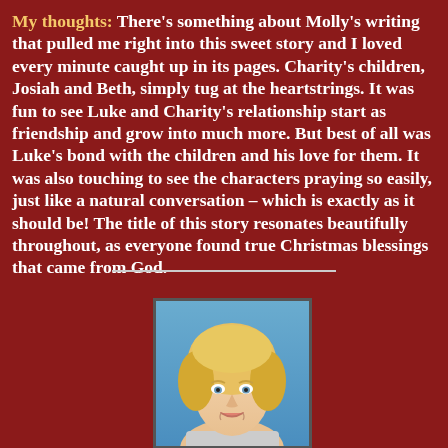My thoughts: There's something about Molly's writing that pulled me right into this sweet story and I loved every minute caught up in its pages. Charity's children, Josiah and Beth, simply tug at the heartstrings. It was fun to see Luke and Charity's relationship start as friendship and grow into much more. But best of all was Luke's bond with the children and his love for them. It was also touching to see the characters praying so easily, just like a natural conversation – which is exactly as it should be! The title of this story resonates beautifully throughout, as everyone found true Christmas blessings that came from God.
[Figure (photo): Headshot of a blonde woman against a light blue background]